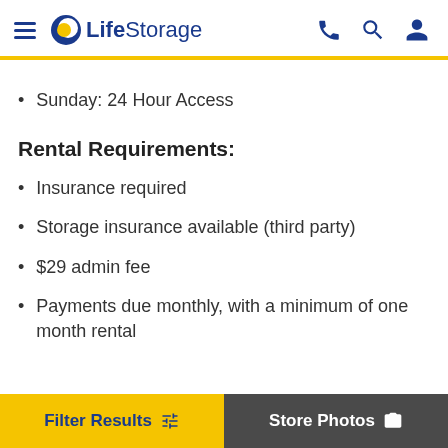LifeStorage
Sunday: 24 Hour Access
Rental Requirements:
Insurance required
Storage insurance available (third party)
$29 admin fee
Payments due monthly, with a minimum of one month rental
Filter Results   Store Photos